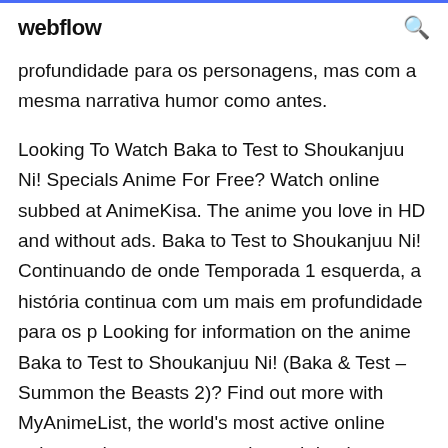webflow
profundidade para os personagens, mas com a mesma narrativa humor como antes.
Looking To Watch Baka to Test to Shoukanjuu Ni! Specials Anime For Free? Watch online subbed at AnimeKisa. The anime you love in HD and without ads. Baka to Test to Shoukanjuu Ni! Continuando de onde Temporada 1 esquerda, a história continua com um mais em profundidade para os p Looking for information on the anime Baka to Test to Shoukanjuu Ni! (Baka & Test – Summon the Beasts 2)? Find out more with MyAnimeList, the world's most active online anime and manga community and database. Goofball Yoshii's still leading his crew